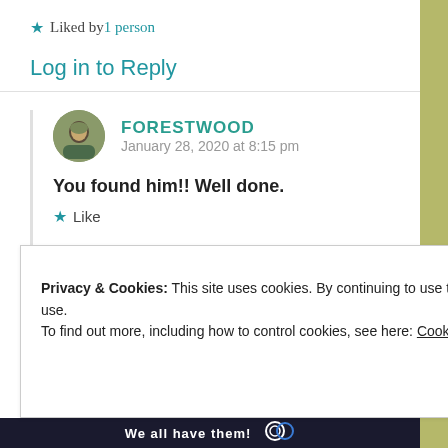★ Liked by 1 person
Log in to Reply
FORESTWOOD
January 28, 2020 at 8:15 pm
You found him!! Well done.
★ Like
Privacy & Cookies: This site uses cookies. By continuing to use this website, you agree to their use.
To find out more, including how to control cookies, see here: Cookie Policy
Close and accept
We all have them!